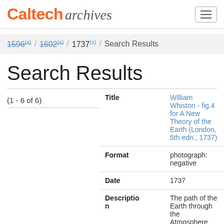Caltech Archives
1596 (x) / 1602 (x) / 1737 (x) / Search Results
Search Results
(1 - 6 of 6)
|  |  |
| --- | --- |
| Title | William Whiston - fig.4 for A New Theory of the Earth (London, 5th edn., 1737) |
| Format | photograph: negative |
| Date | 1737 |
| Description | The path of the Earth through the Atmosphere and Tail of a Comet. Newton and Edmond Halley had |